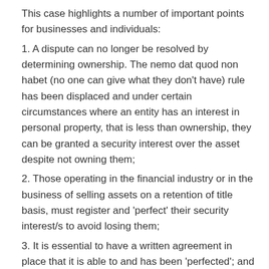This case highlights a number of important points for businesses and individuals:
1. A dispute can no longer be resolved by determining ownership. The nemo dat quod non habet (no one can give what they don't have) rule has been displaced and under certain circumstances where an entity has an interest in personal property, that is less than ownership, they can be granted a security interest over the asset despite not owning them;
2. Those operating in the financial industry or in the business of selling assets on a retention of title basis, must register and 'perfect' their security interest/s to avoid losing them;
3. It is essential to have a written agreement in place that it is able to and has been 'perfected'; and
4. Those relying on the transitional rules should now ensure that their security interest/s were recorded on the appropriate register prior to the implementation of the PPSA. It is therefore important that those who own property or hold security interest/s under the